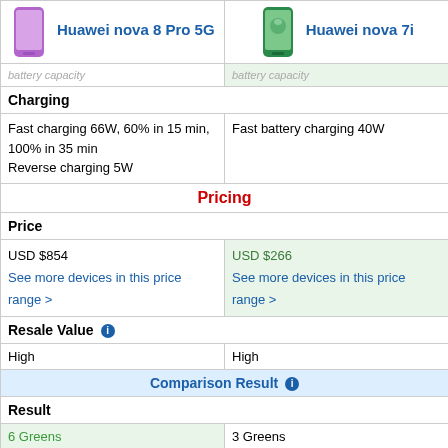| Huawei nova 8 Pro 5G | Huawei nova 7i |
| --- | --- |
| [cut row partial] | [cut row partial] |
| Charging |  |
| Fast charging 66W, 60% in 15 min, 100% in 35 min
Reverse charging 5W | Fast battery charging 40W |
| Pricing |  |
| Price |  |
| USD $854
See more devices in this price range > | USD $266
See more devices in this price range > |
| Resale Value ℹ |  |
| High | High |
| Comparison Result ℹ |  |
| Result |  |
| 6 Greens | 3 Greens |